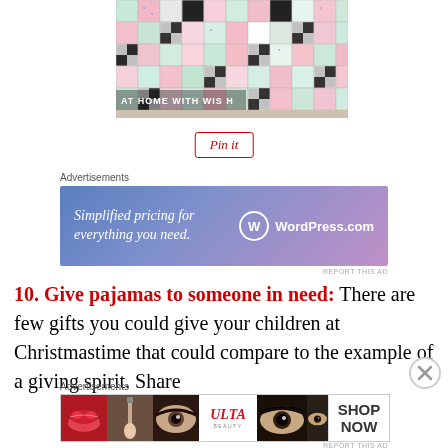[Figure (photo): Patchwork quilt with pink, mint, white, and black-and-white check fabric squares laid out on a surface. Watermark reads 'AT HOME WITH WIS H' in bottom left corner.]
Pin it
Advertisements
[Figure (other): WordPress.com advertisement banner with gradient blue-purple background. Text reads 'Simplified pricing for everything you need.' with WordPress.com logo on the right.]
REPORT THIS AD
10. Give pajamas to someone in need: There are few gifts you could give your children at Christmastime that could compare to the example of a giving spirit. Share
Advertisements
[Figure (other): ULTA beauty advertisement banner showing close-up beauty images of lips, makeup brush, eyes, ULTA logo, eyes with dramatic makeup, and a 'SHOP NOW' call to action.]
REPORT THIS AD